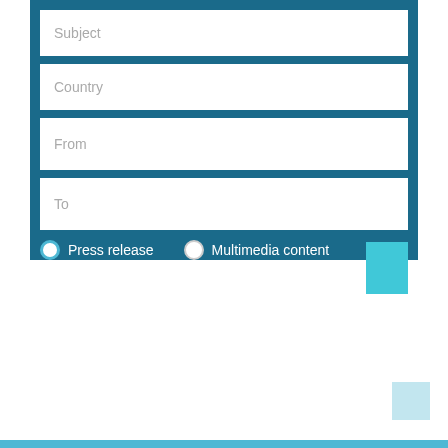[Figure (screenshot): A web form UI with a blue background panel containing four input fields labeled Subject, Country, From, and To, with radio buttons for Press release and Multimedia content, and a cyan action button.]